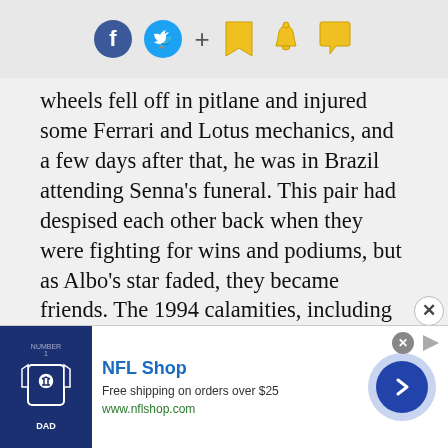Social sharing icons: Facebook, Twitter, plus, bookmark, bell, chat
wheels fell off in pitlane and injured some Ferrari and Lotus mechanics, and a few days after that, he was in Brazil attending Senna's funeral. This pair had despised each other back when they were fighting for wins and podiums, but as Albo's star faded, they became friends. The 1994 calamities, including Roland Ratzenberger's death and Karl Wendlinger's devastating accident in Monaco, were always going to take a mental toll on a driver in his 14th year of F1. At year's end, with 194 Grands Prix to his name and approaching his 38th birthday, Michael retired...
[Figure (screenshot): NFL Shop advertisement banner with jersey image, free shipping offer, and navigation arrow]